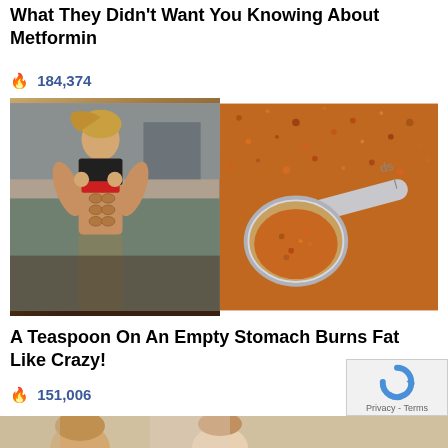What They Didn't Want You Knowing About Metformin
🔥 184,374
[Figure (photo): Left: muscular woman in workout top showing abs. Right: spoon filled with reddish-orange spice powder against a background of the same spice.]
A Teaspoon On An Empty Stomach Burns Fat Like Crazy!
🔥 151,006
[Figure (photo): Bottom strip showing partial view of people's faces/hair.]
[Figure (other): reCAPTCHA badge with Privacy - Terms text]